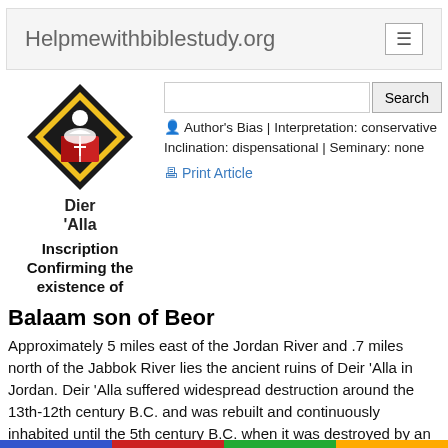Helpmewithbiblestudy.org
[Figure (logo): Diamond-shaped logo with a person reading a red book, surrounded by black and yellow design with a small cross]
Inscription Confirming the existence of
Dier 'Alla
Author's Bias | Interpretation: conservative Inclination: dispensational | Seminary: none
Print Article
Balaam son of Beor
Approximately 5 miles east of the Jordan River and .7 miles north of the Jabbok River lies the ancient ruins of Deir 'Alla in Jordan. Deir 'Alla suffered widespread destruction around the 13th-12th century B.C. and was rebuilt and continuously inhabited until the 5th century B.C. when it was destroyed by an earthquake. In March 1967, a team of archeologists led by Dr. Henk Franken discovered lettering on 119 fragments of plaster littering the floor of a large Bronze Age sanctuary in the earthquake's debris field.
Painted in red and black